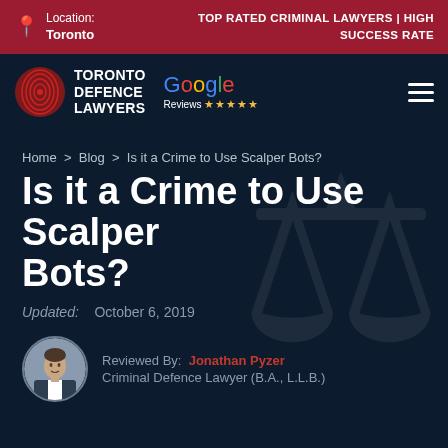Location: Toronto | TOP RATED CRIMINAL LAWYERS | HIGH SUCCESS RATE
[Figure (logo): Toronto Defence Lawyers logo with fingerprint icon and Google Reviews 5-star rating]
Home > Blog > Is it a Crime to Use Scalper Bots?
Is it a Crime to Use Scalper Bots?
Updated: October 6, 2019
[Figure (photo): Circular headshot of author Jonathan Pyzer, a man in a suit]
Reviewed By: Jonathan Pyzer
Criminal Defence Lawyer (B.A., L.L.B.)